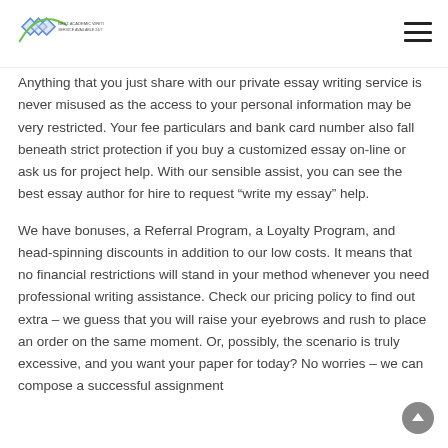Logo and navigation header
Anything that you just share with our private essay writing service is never misused as the access to your personal information may be very restricted. Your fee particulars and bank card number also fall beneath strict protection if you buy a customized essay on-line or ask us for project help. With our sensible assist, you can see the best essay author for hire to request “write my essay” help.
We have bonuses, a Referral Program, a Loyalty Program, and head-spinning discounts in addition to our low costs. It means that no financial restrictions will stand in your method whenever you need professional writing assistance. Check our pricing policy to find out extra – we guess that you will raise your eyebrows and rush to place an order on the same moment. Or, possibly, the scenario is truly excessive, and you want your paper for today? No worries – we can compose a successful assignment